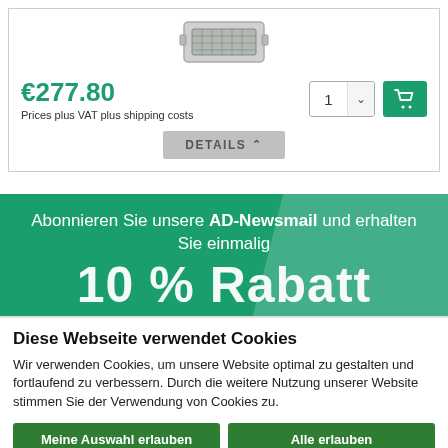[Figure (photo): Product image of an electronic component (grid/mesh metal part)]
€277.80
Prices plus VAT plus shipping costs
DETAILS ▲
Abonnieren Sie unsere AD-Newsmail und erhalten Sie einmalig
10 % Rabatt
Diese Webseite verwendet Cookies
Wir verwenden Cookies, um unsere Website optimal zu gestalten und fortlaufend zu verbessern. Durch die weitere Nutzung unserer Website stimmen Sie der Verwendung von Cookies zu.
Meine Auswahl erlauben
Alle erlauben
Notwendig   Präferenzen   Statistiken   Marketing   Details zeigen